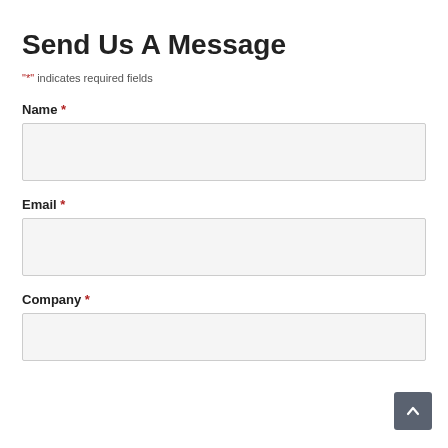Send Us A Message
"*" indicates required fields
Name *
Email *
Company *